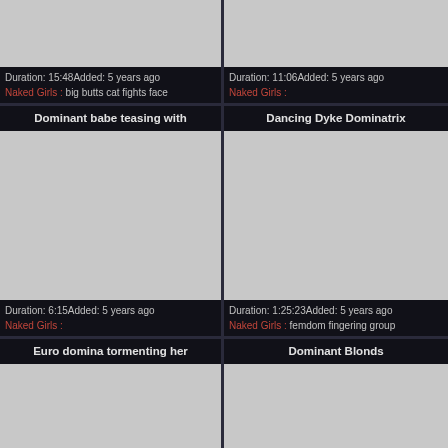[Figure (photo): Video thumbnail placeholder top-left]
Duration: 15:48Added: 5 years ago
Naked Girls : big butts cat fights face
[Figure (photo): Video thumbnail placeholder top-right]
Duration: 11:06Added: 5 years ago
Naked Girls :
Dominant babe teasing with
[Figure (photo): Video thumbnail placeholder mid-left]
Duration: 6:15Added: 5 years ago
Naked Girls :
Dancing Dyke Dominatrix
[Figure (photo): Video thumbnail placeholder mid-right]
Duration: 1:25:23Added: 5 years ago
Naked Girls : femdom fingering group
Euro domina tormenting her
[Figure (photo): Video thumbnail placeholder bottom-left]
Dominant Blonds
[Figure (photo): Video thumbnail placeholder bottom-right]